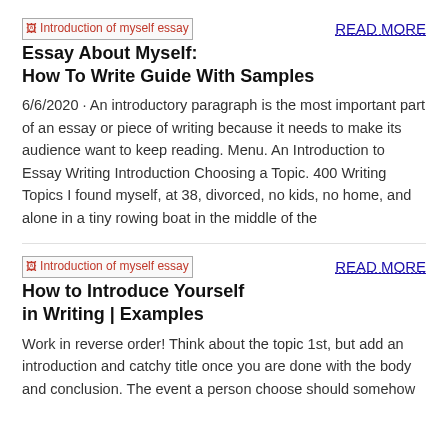[Figure (other): Broken image placeholder labeled 'Introduction of myself essay']
READ MORE
Essay About Myself: How To Write Guide With Samples
6/6/2020 · An introductory paragraph is the most important part of an essay or piece of writing because it needs to make its audience want to keep reading. Menu. An Introduction to Essay Writing Introduction Choosing a Topic. 400 Writing Topics I found myself, at 38, divorced, no kids, no home, and alone in a tiny rowing boat in the middle of the
[Figure (other): Broken image placeholder labeled 'Introduction of myself essay']
READ MORE
How to Introduce Yourself in Writing | Examples
Work in reverse order! Think about the topic 1st, but add an introduction and catchy title once you are done with the body and conclusion. The event a person choose should somehow